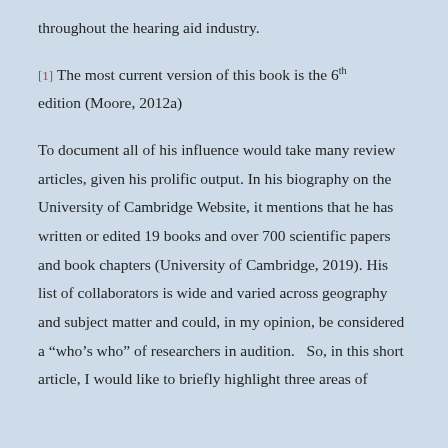throughout the hearing aid industry.
[1] The most current version of this book is the 6th edition (Moore, 2012a)
To document all of his influence would take many review articles, given his prolific output.  In his biography on the University of Cambridge Website, it mentions that he has written or edited 19 books and over 700 scientific papers and book chapters (University of Cambridge, 2019). His list of collaborators is wide and varied across geography and subject matter and could, in my opinion, be considered a “who’s who” of researchers in audition.   So, in this short article, I would like to briefly highlight three areas of